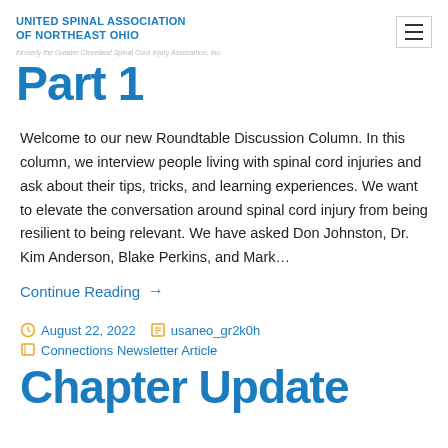UNITED SPINAL ASSOCIATION OF NORTHEAST OHIO
Part 1
Welcome to our new Roundtable Discussion Column. In this column, we interview people living with spinal cord injuries and ask about their tips, tricks, and learning experiences. We want to elevate the conversation around spinal cord injury from being resilient to being relevant. We have asked Don Johnston, Dr. Kim Anderson, Blake Perkins, and Mark…
Continue Reading →
August 22, 2022   usaneo_gr2k0h
Connections Newsletter Article
Chapter Update